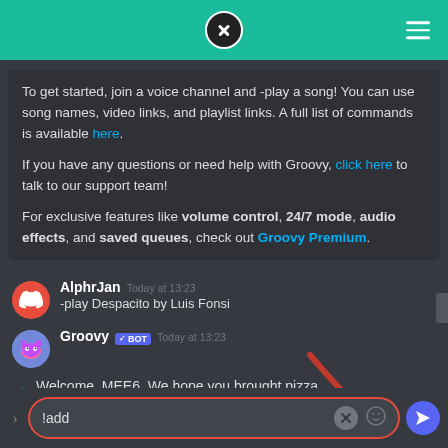[Figure (screenshot): Discord mobile app screenshot showing Groovy music bot chat. Teal header bar with close (X) icon and hamburger menu. Chat area with dark background showing: a bot message about using -play command with song names/video links/playlist links, a help link, info about Groovy Premium features (volume control, 24/7 mode, audio effects, saved queues). User 'AlphrJan' sent '-play Despacito by Luis Fonsi' at 13:23. Groovy BOT responded at 13:23. System message: 'Welcome, MEE6. We hope you brought pizza.' at 15:10. Red annotated arrow pointing down to input bar. Input bar shows '!add' text, clear button, emoji button, and blue send button. Red circle outline around the input field.]